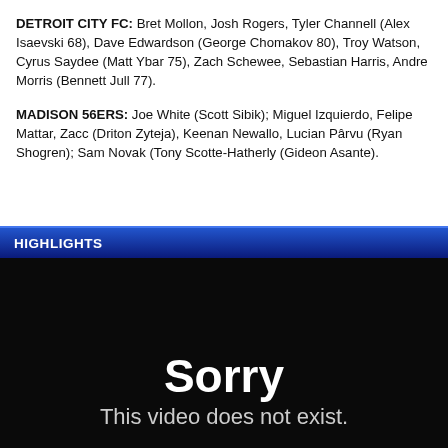DETROIT CITY FC: Bret Mollon, Josh Rogers, Tyler Channell (Alex Isaevski 68), Dave Edwardson (George Chomakov 80), Troy Watson, Cyrus Saydee (Matt Ybar 75), Zach Schewee, Sebastian Harris, Andre Morris (Bennett Jull 77).
MADISON 56ERS: Joe White (Scott Sibik); Miguel Izquierdo, Felipe Mattar, Zacc (Driton Zyteja), Keenan Newallo, Lucian Pârvu (Ryan Shogren); Sam Novak (Tony Scotte-Hatherly (Gideon Asante).
HIGHLIGHTS
[Figure (screenshot): Video player showing black screen with white text 'Sorry' and 'This video does not exist.']